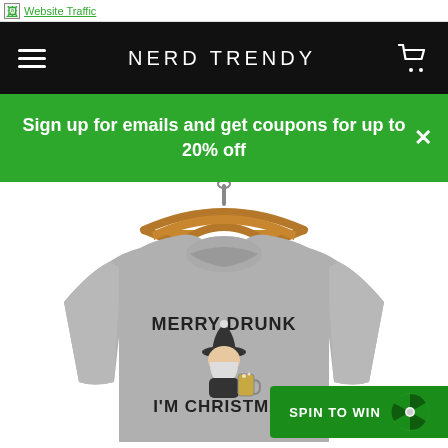Website Traffic
NERD TRENDY
Sign up for emails and get coupons for up to 20% off
[Figure (photo): Gray crewneck sweatshirt on a wooden hanger displaying 'MERRY DRUNK I'M CHRISTMAS' with a Santa Claus holding a beer mug graphic]
SPIN TO WIN